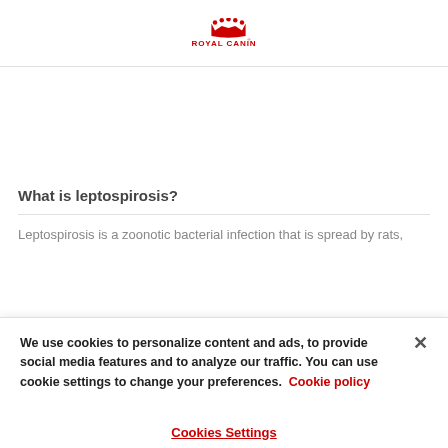[Figure (logo): Royal Canin logo with crown icon and red ROYAL CANIN text]
What is leptospirosis?
Leptospirosis is a zoonotic bacterial infection that is spread by rats,
We use cookies to personalize content and ads, to provide social media features and to analyze our traffic. You can use cookie settings to change your preferences. Cookie policy
Cookies Settings